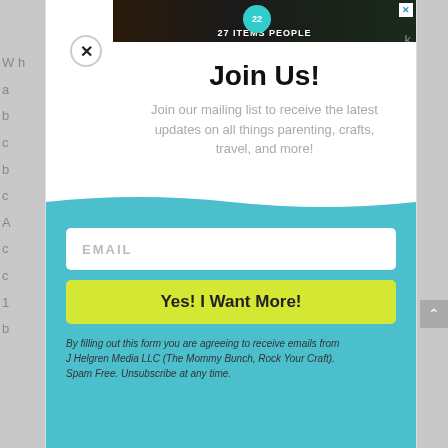[Figure (screenshot): Ad banner at top of modal showing dark background with kitchen knives and spices, a teal circular badge with '22', and text '27 ITEMS PEOPLE' partially visible. A blue X close button is at top right.]
Join Us!
Join our mailing list to receive the latest updates on all things parenting, crafts, travel, and more!
EMAIL
Yes! I Want More!
By filling out this form you are agreeing to receive emails from J Helgren Media LLC (The Mommy Bunch, Rock Your Craft). Spam Free. Unsubscribe at any time.